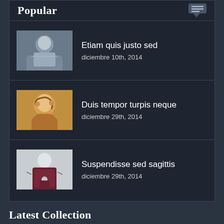Popular
Etiam quis justo sed
diciembre 10th, 2014
Duis tempor turpis neque
diciembre 29th, 2014
Suspendisse sed sagittis
diciembre 29th, 2014
Latest Collection
[Figure (photo): Two women posing outdoors near a tree in winter]